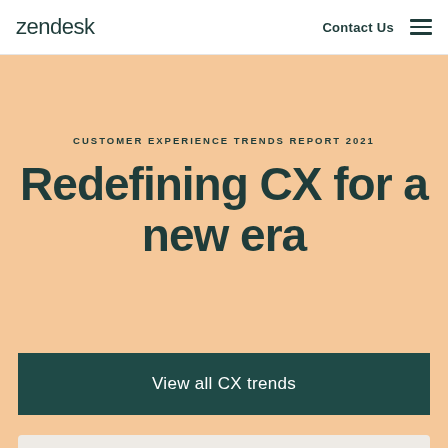zendesk | Contact Us
CUSTOMER EXPERIENCE TRENDS REPORT 2021
Redefining CX for a new era
View all CX trends
[Figure (photo): Bottom portion of a product/device image on a light beige background, partially visible at the bottom of the page]